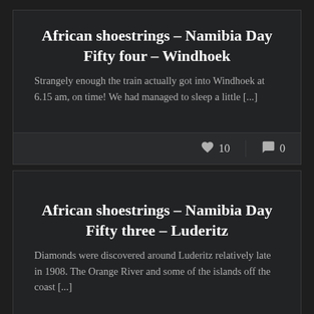African shoestrings – Namibia Day Fifty four – Windhoek
Strangely enough the train actually got into Windhoek at 6.15 am, on time! We had managed to sleep a little [...]
♥ 10   💬 0
African shoestrings – Namibia Day Fifty three – Luderitz
Diamonds were discovered around Luderitz relatively late in 1908. The Orange River and some of the islands off the coast [...]
♥ 14   💬 0